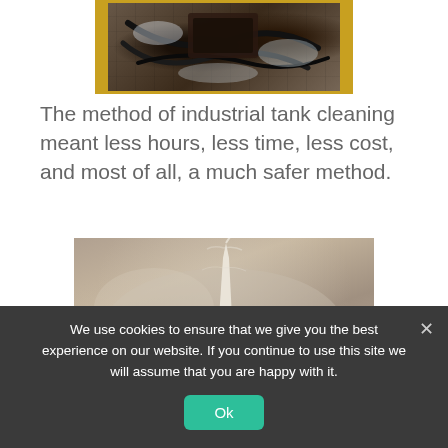[Figure (photo): Top portion of an image showing industrial tank cleaning equipment with dark hoses/cables on a surface, with yellow border visible and frost/residue around it]
The method of industrial tank cleaning meant less hours, less time, less cost, and most of all, a much safer method.
[Figure (photo): A misty/foggy industrial cleaning scene showing a water spray jet shooting upward in a hazy brownish-tan environment inside a tank]
We use cookies to ensure that we give you the best experience on our website. If you continue to use this site we will assume that you are happy with it.